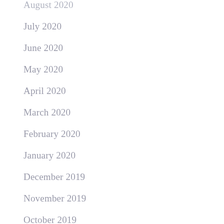August 2020
July 2020
June 2020
May 2020
April 2020
March 2020
February 2020
January 2020
December 2019
November 2019
October 2019
September 2019
August 2019
July 2019